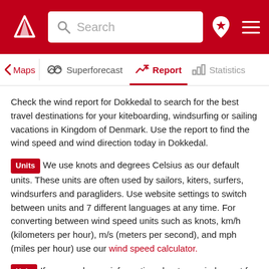Search | Maps | Superforecast | Report | Statistics
Check the wind report for Dokkedal to search for the best travel destinations for your kiteboarding, windsurfing or sailing vacations in Kingdom of Denmark. Use the report to find the wind speed and wind direction today in Dokkedal.
Units We use knots and degrees Celsius as our default units. These units are often used by sailors, kiters, surfers, windsurfers and paragliders. Use website settings to switch between units and 7 different languages at any time. For converting between wind speed units such as knots, km/h (kilometers per hour), m/s (meters per second), and mph (miles per hour) use our wind speed calculator.
Help If you need more information about our wind report for Dokkedal, have a look at our help section.